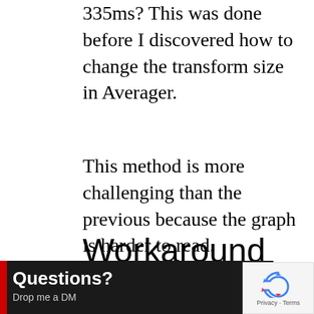335ms? This was done before I discovered how to change the transform size in Averager.
This method is more challenging than the previous because the graph is harder to read.
Workaround #3 – Medium difficulty/cheapest
Room EQ Wizard is a free app with functionality. Although
[Figure (other): Dark banner overlay with red left bar showing 'Questions? Drop me a DM' text in white on black background]
[Figure (other): reCAPTCHA logo box with Privacy and Terms text, grey background]